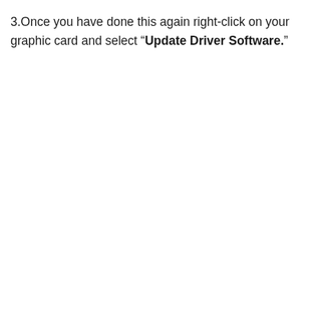3.Once you have done this again right-click on your graphic card and select “Update Driver Software.”